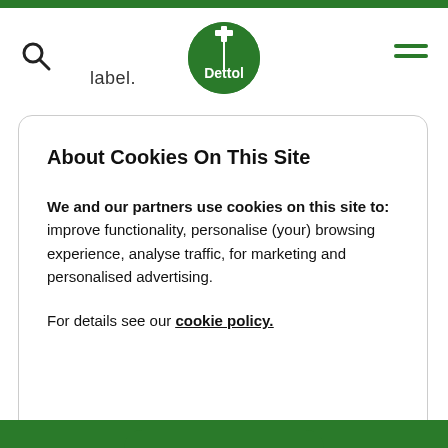label.
[Figure (logo): Dettol logo: circular green badge with white cross at top and 'Dettol' text]
About Cookies On This Site
We and our partners use cookies on this site to: improve functionality, personalise (your) browsing experience, analyse traffic, for marketing and personalised advertising.
For details see our cookie policy.